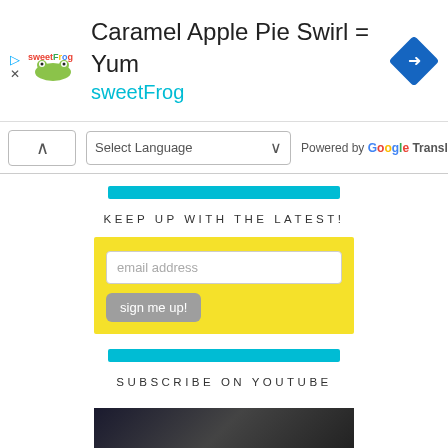[Figure (screenshot): SweetFrog advertisement banner with logo, title 'Caramel Apple Pie Swirl = Yum', subtitle 'sweetFrog', navigation arrow icon, play and close icons]
Select Language   Powered by Google Translate
[Figure (other): Cyan/teal horizontal decorative bar]
KEEP UP WITH THE LATEST!
[Figure (screenshot): Yellow email signup box with email address input field and 'sign me up!' button]
[Figure (other): Cyan/teal horizontal decorative bar]
SUBSCRIBE ON YOUTUBE
[Figure (photo): YouTube video thumbnail showing dark image]